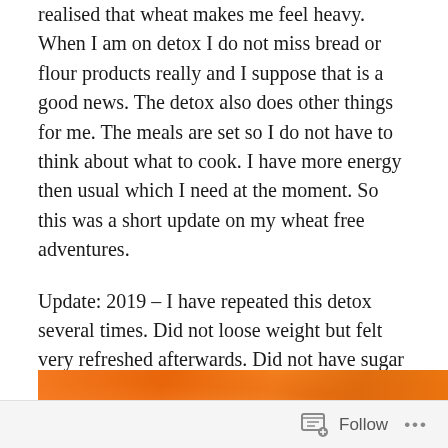realised that wheat makes me feel heavy. When I am on detox I do not miss bread or flour products really and I suppose that is a good news. The detox also does other things for me. The meals are set so I do not have to think about what to cook. I have more energy then usual which I need at the moment. So this was a short update on my wheat free adventures.
Update: 2019 – I have repeated this detox several times. Did not loose weight but felt very refreshed afterwards. Did not have sugar craving for about three weeks and did not feel like coffee. Felt energy surge at least for few weeks.
[Figure (photo): Orange-colored image, likely of an orange fruit or orange fabric, visible at the bottom of the page]
Follow ···